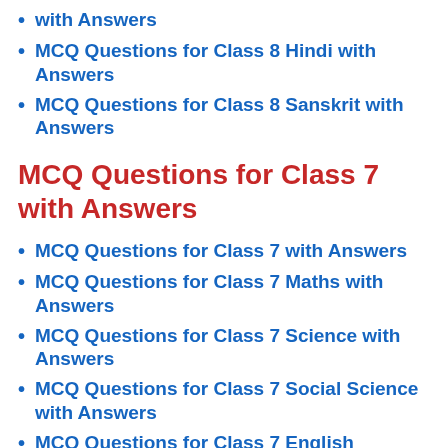with Answers
MCQ Questions for Class 8 Hindi with Answers
MCQ Questions for Class 8 Sanskrit with Answers
MCQ Questions for Class 7 with Answers
MCQ Questions for Class 7 with Answers
MCQ Questions for Class 7 Maths with Answers
MCQ Questions for Class 7 Science with Answers
MCQ Questions for Class 7 Social Science with Answers
MCQ Questions for Class 7 English